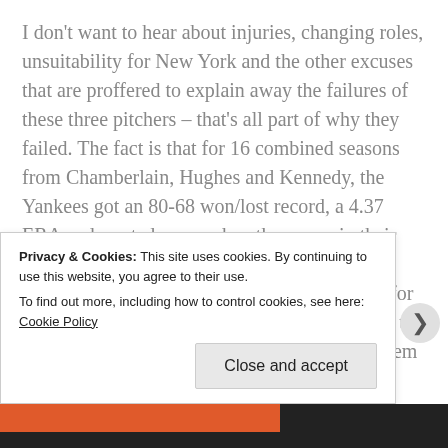I don't want to hear about injuries, changing roles, unsuitability for New York and the other excuses that are proffered to explain away the failures of these three pitchers – that's all part of why they failed. The fact is that for 16 combined seasons from Chamberlain, Hughes and Kennedy, the Yankees got an 80-68 won/lost record, a 4.37 ERA and wasted years when they were in their early-to-mid 20s and should have been at their strongest and most useful. Don't start looking for advanced stats either because that's only going to make the case for the way the Yankees used them worse. They could have been good
Privacy & Cookies: This site uses cookies. By continuing to use this website, you agree to their use.
To find out more, including how to control cookies, see here: Cookie Policy
Close and accept